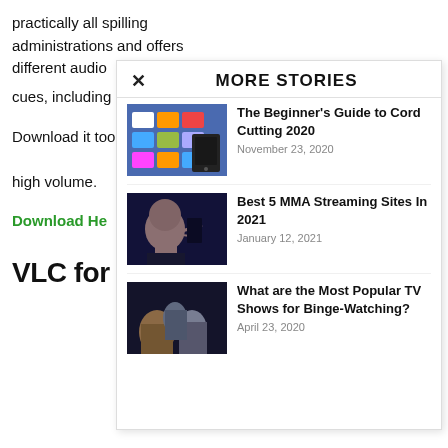practically all spilling administrations and offers different audio cues, including
Download it too high volume.
Download He
VLC for A
MORE STORIES
The Beginner's Guide to Cord Cutting 2020
November 23, 2020
Best 5 MMA Streaming Sites In 2021
January 12, 2021
What are the Most Popular TV Shows for Binge-Watching?
April 23, 2020